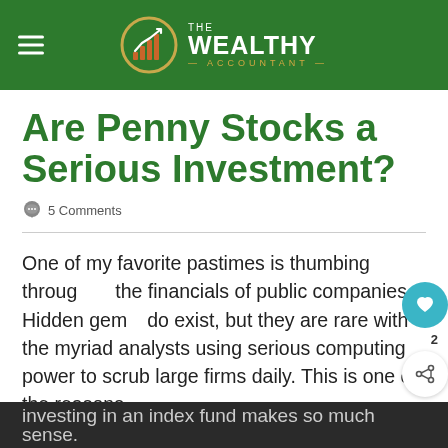THE WEALTHY ACCOUNTANT
Are Penny Stocks a Serious Investment?
5 Comments
One of my favorite pastimes is thumbing through the financials of public companies. Hidden gems do exist, but they are rare with the myriad analysts using serious computing power to scrub large firms daily. This is one of the reasons investing in an index fund makes so much sense.